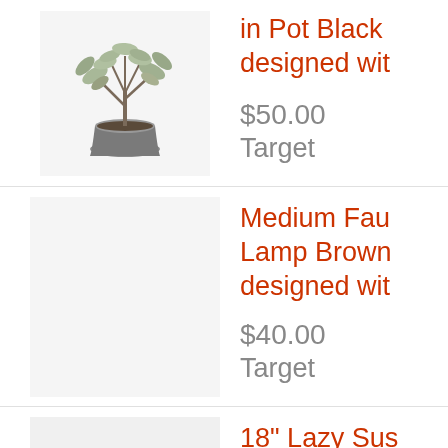[Figure (photo): Faux olive tree plant in a gray pot on white background]
in Pot Black designed wit
$50.00
Target
Medium Fau Lamp Brown designed wit
$40.00
Target
[Figure (photo): 18 inch Lazy Susan wooden turntable, partial view from top]
18" Lazy Sus